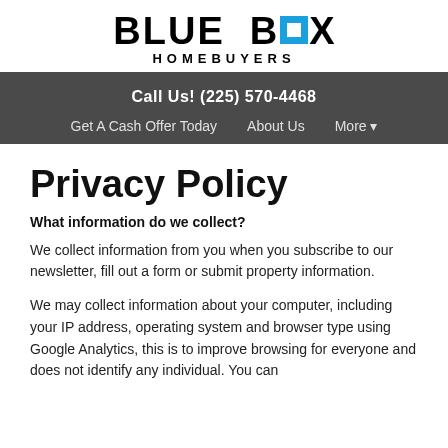BLUE BOX HOMEBUYERS
Call Us! (225) 570-4468
Get A Cash Offer Today   About Us   More ▾
Privacy Policy
What information do we collect?
We collect information from you when you subscribe to our newsletter, fill out a form or submit property information.
We may collect information about your computer, including your IP address, operating system and browser type using Google Analytics, this is to improve browsing for everyone and does not identify any individual. You can